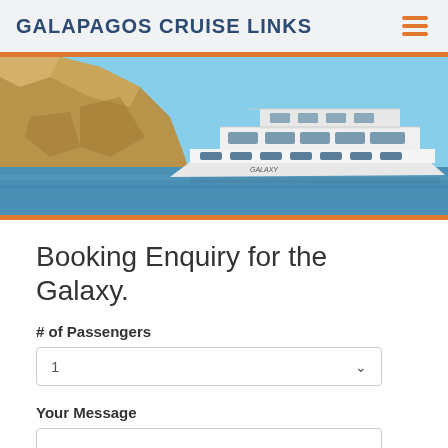GALAPAGOS CRUISE LINKS
[Figure (photo): A white luxury yacht named Galaxy moored near tall rocky coastal cliffs under a blue sky.]
Booking Enquiry for the Galaxy.
# of Passengers
1
Your Message